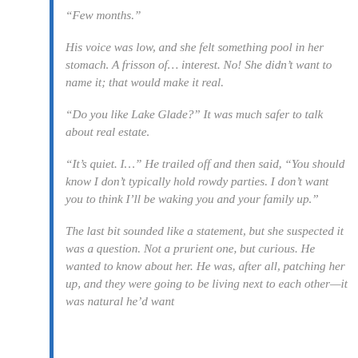“Few months.”
His voice was low, and she felt something pool in her stomach. A frisson of… interest. No! She didn’t want to name it; that would make it real.
“Do you like Lake Glade?” It was much safer to talk about real estate.
“It’s quiet. I…” He trailed off and then said, “You should know I don’t typically hold rowdy parties. I don’t want you to think I’ll be waking you and your family up.”
The last bit sounded like a statement, but she suspected it was a question. Not a prurient one, but curious. He wanted to know about her. He was, after all, patching her up, and they were going to be living next to each other—it was natural he’d want